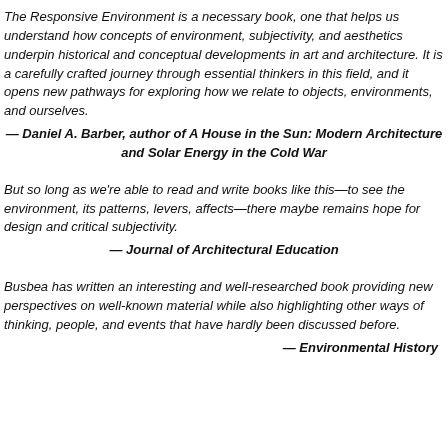The Responsive Environment is a necessary book, one that helps us understand how concepts of environment, subjectivity, and aesthetics underpin historical and conceptual developments in art and architecture. It is a carefully crafted journey through essential thinkers in this field, and it opens new pathways for exploring how we relate to objects, environments, and ourselves.
— Daniel A. Barber, author of A House in the Sun: Modern Architecture and Solar Energy in the Cold War
But so long as we're able to read and write books like this—to see the environment, its patterns, levers, affects—there maybe remains hope for design and critical subjectivity.
— Journal of Architectural Education
Busbea has written an interesting and well-researched book providing new perspectives on well-known material while also highlighting other ways of thinking, people, and events that have hardly been discussed before.
— Environmental History